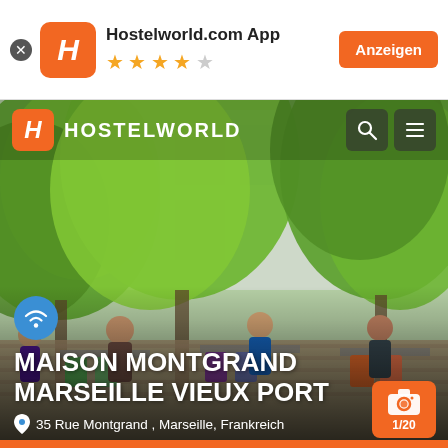[Figure (screenshot): Hostelworld.com App advertisement banner with orange H logo, 4.5 star rating, and Anzeigen button]
[Figure (photo): Outdoor terrace of Maison Montgrand Marseille Vieux Port hostel with people sitting at colorful chairs and tables surrounded by green trees, showing Hostelworld navigation bar overlay]
MAISON MONTGRAND MARSEILLE VIEUX PORT
35 Rue Montgrand , Marseille, Frankreich